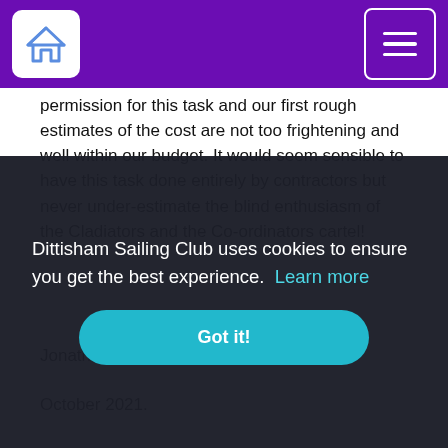[Dittisham Sailing Club home icon and hamburger menu]
permission for this task and our first rough estimates of the cost are not too frightening and well within our budget. It would seem sensible to have this task done entirely by contractors but never under-estimate the blind enthusiasm of the Cladiators and the Co-ordinators cartel!
Jonathan Weeks
October 2021.
Dittisham Sailing Club uses cookies to ensure you get the best experience.  Learn more
Got it!